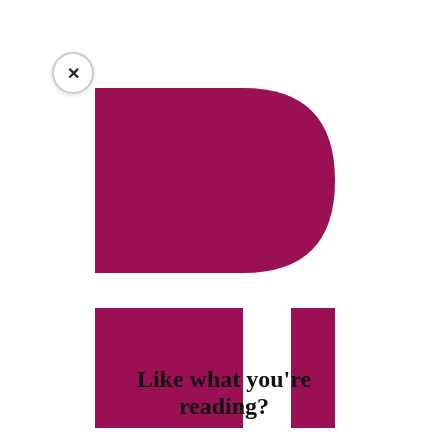the Pentecostal crowd. While such populist energies had circulated within rad on, Pen Spi s, ear bro sca t elit Sin e to t vot inst s inst ies
[Figure (logo): Politico logo made of dark magenta/crimson shapes: a large rectangle with semicircle on top right (capital P shape), and below, a narrower rectangle paired with a smaller semicircle rectangle on the right (lowercase p shape)]
Like what you're reading?